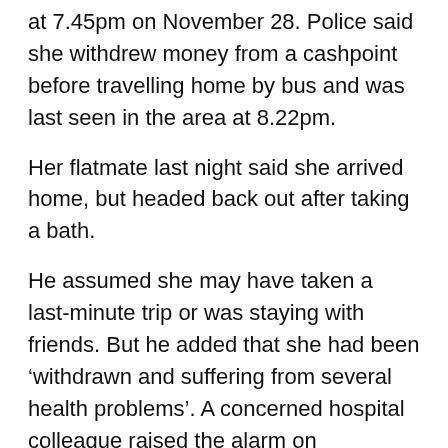at 7.45pm on November 28. Police said she withdrew money from a cashpoint before travelling home by bus and was last seen in the area at 8.22pm.
Her flatmate last night said she arrived home, but headed back out after taking a bath.
He assumed she may have taken a last-minute trip or was staying with friends. But he added that she had been ‘withdrawn and suffering from several health problems’. A concerned hospital colleague raised the alarm on December 3 after Miss Srncova failed to turn up for work.
aying tribute, an NHS worker said on Facebook: ‘You were brilliant, dedicated and skilled and we wish it had been a different ending.’